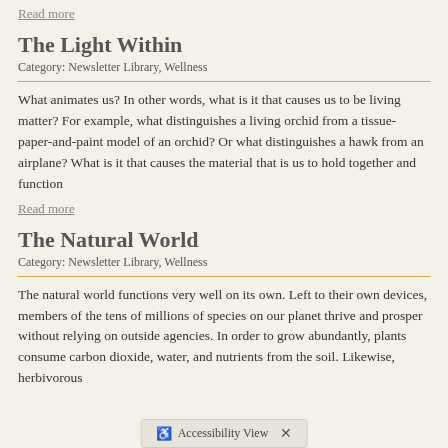Read more
The Light Within
Category: Newsletter Library, Wellness
What animates us? In other words, what is it that causes us to be living matter? For example, what distinguishes a living orchid from a tissue-paper-and-paint model of an orchid? Or what distinguishes a hawk from an airplane? What is it that causes the material that is us to hold together and function
Read more
The Natural World
Category: Newsletter Library, Wellness
The natural world functions very well on its own. Left to their own devices, members of the tens of millions of species on our planet thrive and prosper without relying on outside agencies. In order to grow abundantly, plants consume carbon dioxide, water, and nutrients from the soil. Likewise, herbivorous